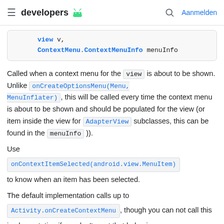≡ developers [android logo] 🔍 Aanmelden
[Figure (screenshot): Code snippet showing View v, ContextMenu.ContextMenuInfo menuInfo parameters]
Called when a context menu for the view is about to be shown. Unlike onCreateOptionsMenu(Menu, MenuInflater), this will be called every time the context menu is about to be shown and should be populated for the view (or item inside the view for AdapterView subclasses, this can be found in the menuInfo )).
Use onContextItemSelected(android.view.MenuItem) to know when an item has been selected.
The default implementation calls up to Activity.onCreateContextMenu, though you can not call this implementation if you don't want that behavior.